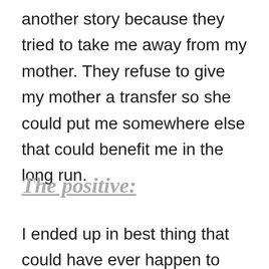another story because they tried to take me away from my mother. They refuse to give my mother a transfer so she could put me somewhere else that could benefit me in the long run.
The positive:
I ended up in best thing that could have ever happen to me which was